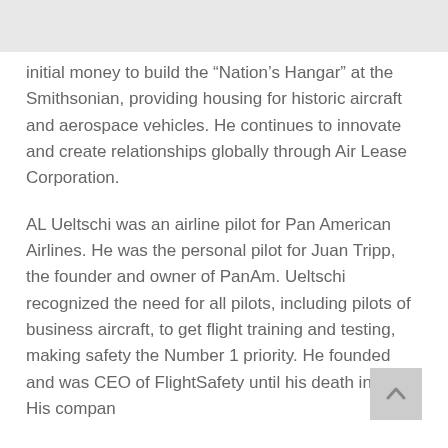initial money to build the “Nation’s Hangar” at the Smithsonian, providing housing for historic aircraft and aerospace vehicles. He continues to innovate and create relationships globally through Air Lease Corporation.
AL Ueltschi was an airline pilot for Pan American Airlines. He was the personal pilot for Juan Tripp, the founder and owner of PanAm. Ueltschi recognized the need for all pilots, including pilots of business aircraft, to get flight training and testing, making safety the Number 1 priority. He founded and was CEO of FlightSafety until his death in 2012. His compan...